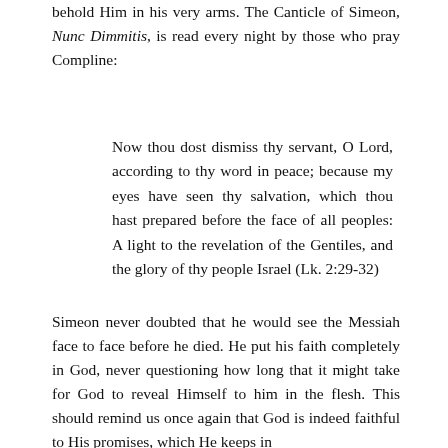behold Him in his very arms. The Canticle of Simeon, Nunc Dimmitis, is read every night by those who pray Compline:
Now thou dost dismiss thy servant, O Lord, according to thy word in peace; because my eyes have seen thy salvation, which thou hast prepared before the face of all peoples: A light to the revelation of the Gentiles, and the glory of thy people Israel (Lk. 2:29-32)
Simeon never doubted that he would see the Messiah face to face before he died. He put his faith completely in God, never questioning how long that it might take for God to reveal Himself to him in the flesh. This should remind us once again that God is indeed faithful to His promises, which He keeps in